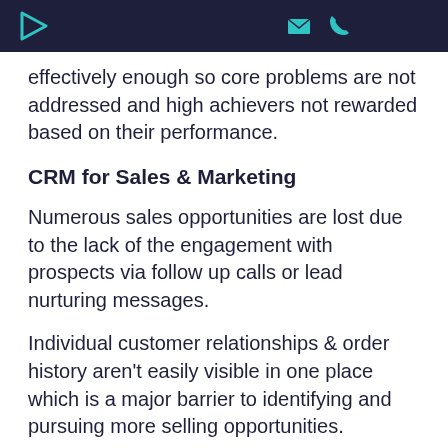[Navigation header with logo and icons]
effectively enough so core problems are not addressed and high achievers not rewarded based on their performance.
CRM for Sales & Marketing
Numerous sales opportunities are lost due to the lack of the engagement with prospects via follow up calls or lead nurturing messages.
Individual customer relationships & order history aren't easily visible in one place which is a major barrier to identifying and pursuing more selling opportunities.
Sales admin is too time consuming as it largely involves producing manual forecasts, long quoting processes & to...